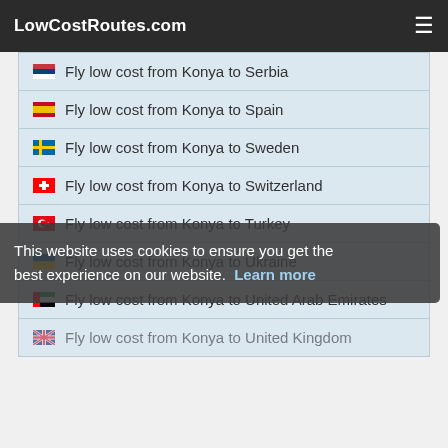LowCostRoutes.com
Fly low cost from Konya to Serbia
Fly low cost from Konya to Spain
Fly low cost from Konya to Sweden
Fly low cost from Konya to Switzerland
Fly low cost from Konya to Turkey
Fly low cost from Konya to Ukraine
Fly low cost from Konya to United Arab Emirates
Fly low cost from Konya to United Kingdom
This website uses cookies to ensure you get the best experience on our website. Learn more